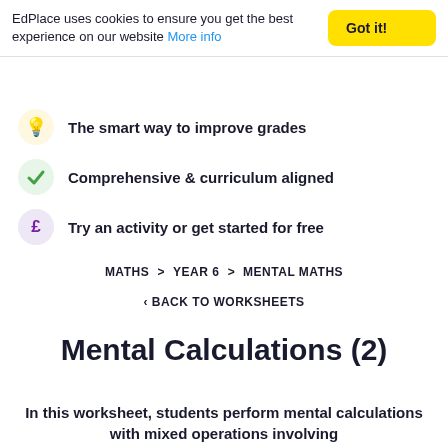EdPlace uses cookies to ensure you get the best experience on our website More info
The smart way to improve grades
Comprehensive & curriculum aligned
Try an activity or get started for free
MATHS > YEAR 6 > MENTAL MATHS
< BACK TO WORKSHEETS
Mental Calculations (2)
In this worksheet, students perform mental calculations with mixed operations involving